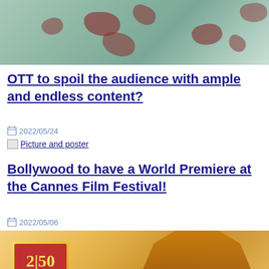[Figure (photo): Photo showing a teal/mint colored fabric with brown/rust colored stains or spots, cropped at top]
OTT to spoil the audience with ample and endless content?
2022/05/24
[Figure (photo): Broken image placeholder with text 'Picture and poster']
Bollywood to have a World Premiere at the Cannes Film Festival!
2022/05/06
[Figure (photo): Movie poster with yellow/golden background, a logo with '2|50' text and 'yash raj films' text, and a figure silhouette on the right side]